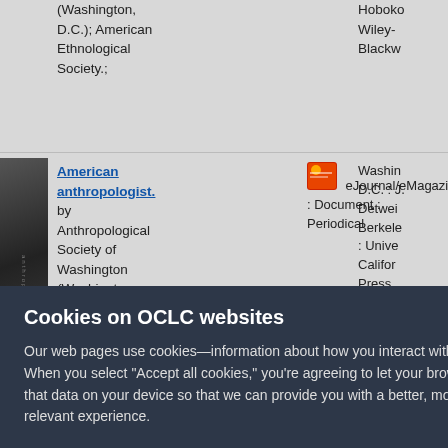(Washington, D.C.); American Ethnological Society.;
Hoboken Wiley-Blackw
[Figure (photo): Thumbnail image of the American Anthropologist journal cover, dark toned book cover]
American anthropologist. by Anthropological Society of Washington (Washington, D.C.); American Ethnological Society.; American Anthropological Association.;
eJournal/eMagazine : Document : Periodical
English
1888
Washington D.C. : J. Detweiler Berkeley : University of California Press Hoboken Wiley-Blackwell
Washi D.C.], meri Anthro Associ c.
Cookies on OCLC websites
Our web pages use cookies—information about how you interact with the site. When you select "Accept all cookies," you're agreeing to let your browser store that data on your device so that we can provide you with a better, more relevant experience.